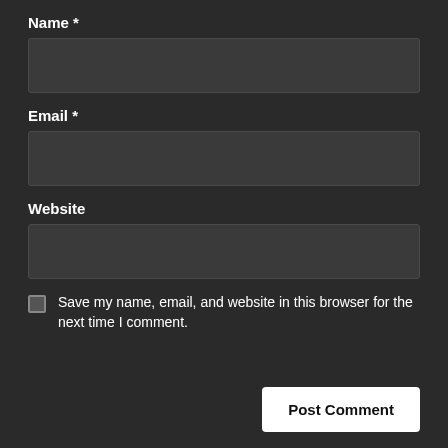Name *
[Figure (screenshot): Empty text input field for Name]
Email *
[Figure (screenshot): Empty text input field for Email]
Website
[Figure (screenshot): Empty text input field for Website]
Save my name, email, and website in this browser for the next time I comment.
Post Comment